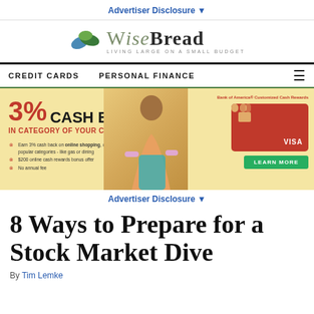Advertiser Disclosure ▼
[Figure (logo): WiseBread logo with leaf icon and tagline 'LIVING LARGE ON A SMALL BUDGET']
CREDIT CARDS   PERSONAL FINANCE   ☰
[Figure (infographic): Bank of America Customized Cash Rewards credit card advertisement: 3% CASH BACK IN CATEGORY OF YOUR CHOICE. Earn 3% cash back on online shopping, or change it to one of five other popular categories - like gas or dining. $200 online cash rewards bonus offer. No annual fee. LEARN MORE button.]
Advertiser Disclosure ▼
8 Ways to Prepare for a Stock Market Dive
By Tim Lemke